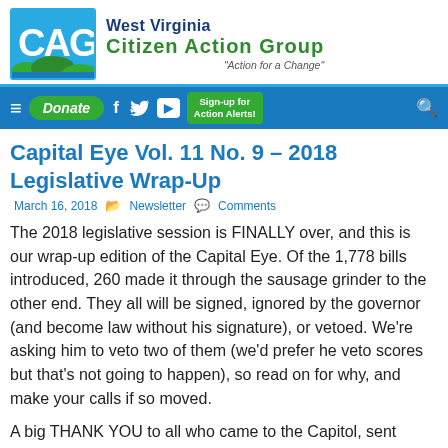[Figure (logo): West Virginia Citizen Action Group logo with stylized 'CAG' letters and green hills, blue sky graphic. Text: 'West Virginia Citizen Action Group' and tagline 'Action for a Change']
[Figure (screenshot): Navigation bar with hamburger menu, Donate button, Facebook, Twitter, YouTube icons, Sign-up for Action Alerts button, and search icon on blue background]
Capital Eye Vol. 11 No. 9 – 2018 Legislative Wrap-Up
March 16, 2018  Newsletter  Comments
The 2018 legislative session is FINALLY over, and this is our wrap-up edition of the Capital Eye. Of the 1,778 bills introduced, 260 made it through the sausage grinder to the other end. They all will be signed, ignored by the governor (and become law without his signature), or vetoed. We're asking him to veto two of them (we'd prefer he veto scores but that's not going to happen), so read on for why, and make your calls if so moved.
A big THANK YOU to all who came to the Capitol, sent emails, and/or made calls on important legislation. Now that the session is over...